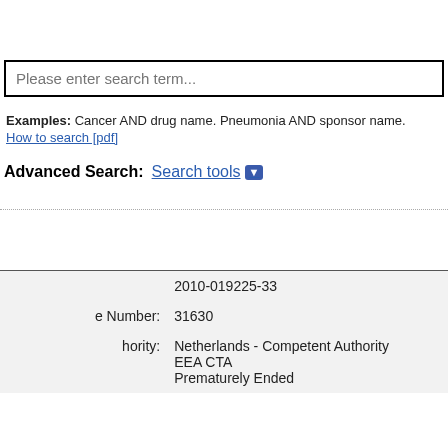Please enter search term...
Examples: Cancer AND drug name. Pneumonia AND sponsor name.
How to search [pdf]
Advanced Search: Search tools
|  | 2010-019225-33 |
| e Number: | 31630 |
| hority: | Netherlands - Competent Authority
EEA CTA
Prematurely Ended |